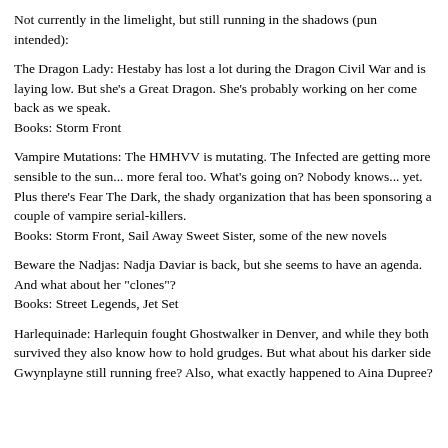Not currently in the limelight, but still running in the shadows (pun intended):
The Dragon Lady: Hestaby has lost a lot during the Dragon Civil War and is laying low. But she's a Great Dragon. She's probably working on her come back as we speak.
Books: Storm Front
Vampire Mutations: The HMHVV is mutating. The Infected are getting more sensible to the sun... more feral too. What's going on? Nobody knows... yet. Plus there's Fear The Dark, the shady organization that has been sponsoring a couple of vampire serial-killers.
Books: Storm Front, Sail Away Sweet Sister, some of the new novels
Beware the Nadjas: Nadja Daviar is back, but she seems to have an agenda. And what about her "clones"?
Books: Street Legends, Jet Set
Harlequinade: Harlequin fought Ghostwalker in Denver, and while they both survived they also know how to hold grudges. But what about his darker side Gwynplayne still running free? Also, what exactly happened to Aina Dupree?